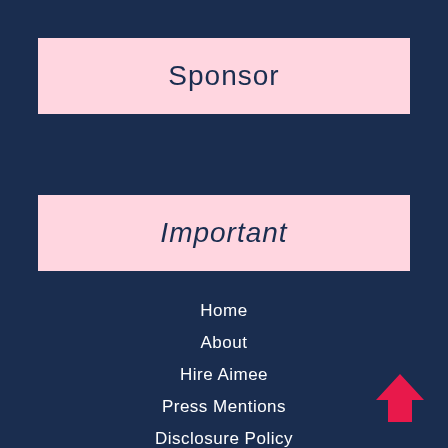Sponsor
Important
Home
About
Hire Aimee
Press Mentions
Disclosure Policy
Media Kit
Shop
Contact
[Figure (illustration): Pink upward-pointing arrow icon in bottom right corner]